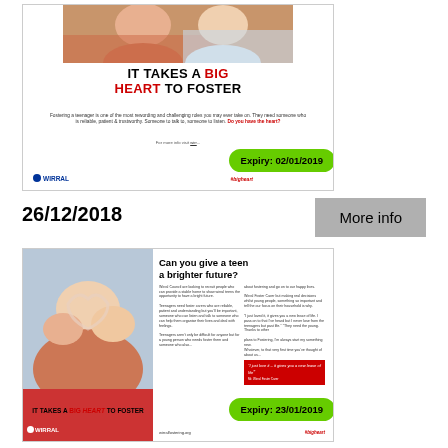[Figure (photo): Fostering advertisement card 1 - 'It Takes A Big Heart To Foster' with Wirral Council branding and expiry badge 02/01/2019]
26/12/2018
More info
[Figure (photo): Fostering advertisement card 2 - 'Can you give a teen a brighter future?' with Wirral Council branding, photo of two women making heart shape with hands, and expiry badge 23/01/2019]